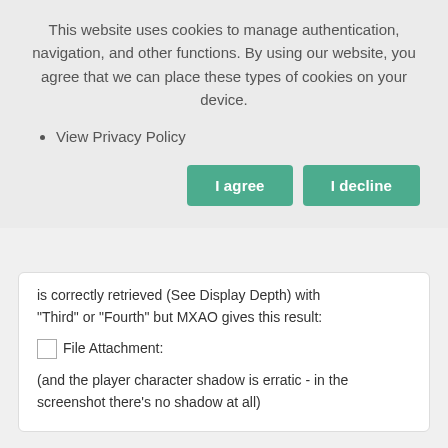This website uses cookies to manage authentication, navigation, and other functions. By using our website, you agree that we can place these types of cookies on your device.
View Privacy Policy
I agree
I decline
is correctly retrieved (See Display Depth) with "Third" or "Fourth" but MXAO gives this result:
[Figure (other): File Attachment icon placeholder]
File Attachment:
(and the player character shadow is erratic - in the screenshot there's no shadow at all)
The topic has been locked.